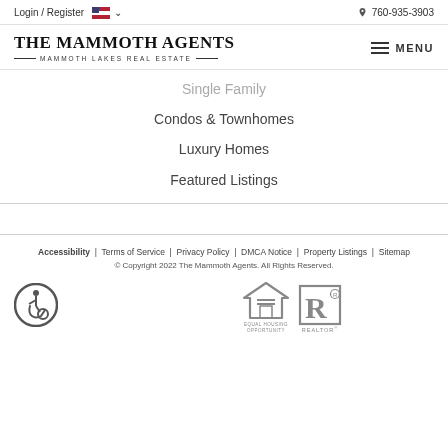Login / Register  🇺🇸 ∨    📞 760-935-3903
The Mammoth Agents — Mammoth Lakes Real Estate
Single Family
Condos & Townhomes
Luxury Homes
Featured Listings
Accessibility | Terms of Service | Privacy Policy | DMCA Notice | Property Listings | Sitemap
© Copyright 2022 The Mammoth Agents. All Rights Reserved.
[Figure (logo): Accessibility wheelchair icon, Equal Housing Opportunity logo, Realtor logo]